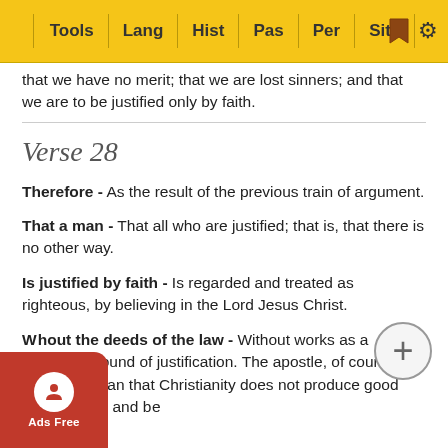Tools | Lang | Hist | Pas | Per | Site
that we have no merit; that we are lost sinners; and that we are to be justified only by faith.
Verse 28
Therefore - As the result of the previous train of argument.
That a man - That all who are justified; that is, that there is no other way.
Is justified by faith - Is regarded and treated as righteous, by believing in the Lord Jesus Christ.
Without the deeds of the law - Without works as a meritorious ground of justification. The apostle, of course, does not mean that Christianity does not produce good works; but that they are not the ground of justification by law, and be... [text continues] be